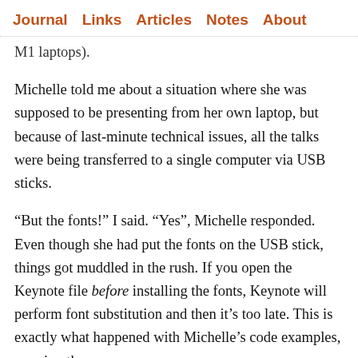Journal  Links  Articles  Notes  About
M1 laptops).
Michelle told me about a situation where she was supposed to be presenting from her own laptop, but because of last-minute technical issues, all the talks were being transferred to a single computer via USB sticks.
“But the fonts!” I said. “Yes”, Michelle responded. Even though she had put the fonts on the USB stick, things got muddled in the rush. If you open the Keynote file before installing the fonts, Keynote will perform font substitution and then it’s too late. This is exactly what happened with Michelle’s code examples, messing them up.
“You know”, I said, “I was thinking about having a back-up version of my talks that’s made entirely out of images—export every slide as an image, then make a new deck by importing all those images.”